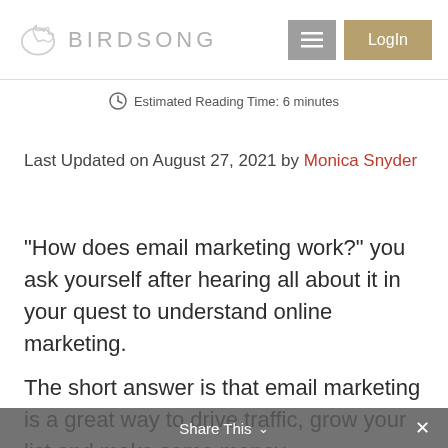BIRDSONG | Login
Estimated Reading Time: 6 minutes
Last Updated on August 27, 2021 by Monica Snyder
“How does email marketing work?” you ask yourself after hearing all about it in your quest to understand online marketing.
The short answer is that email marketing is a great way to drive traffic, grow your list and make some money.
Share This